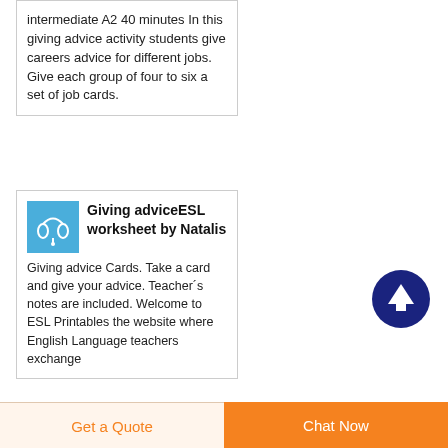intermediate A2 40 minutes In this giving advice activity students give careers advice for different jobs. Give each group of four to six a set of job cards.
[Figure (photo): Small blue thumbnail image of headphones/earbuds]
Giving adviceESL worksheet by Natalis
Giving advice Cards. Take a card and give your advice. Teacher´s notes are included. Welcome to ESL Printables the website where English Language teachers exchange
[Figure (other): Dark navy circle with upward arrow icon — scroll to top button]
Get a Quote
Chat Now